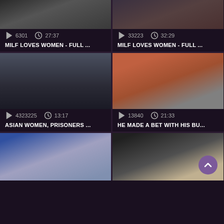[Figure (screenshot): Top-left video thumbnail, partial view of people]
6301  27:37
MILF LOVES WOMEN - FULL ...
[Figure (screenshot): Top-right video thumbnail, partial view]
33223  32:29
MILF LOVES WOMEN - FULL ...
[Figure (screenshot): Middle-left video thumbnail: people in dark setting]
4323225  13:17
ASIAN WOMEN, PRISONERS ...
[Figure (screenshot): Middle-right video thumbnail: woman in red dress with man on sofa]
13840  21:33
HE MADE A BET WITH HIS BU...
[Figure (screenshot): Bottom-left video thumbnail: blonde woman in blue]
[Figure (screenshot): Bottom-right video thumbnail: two people on white sofa]